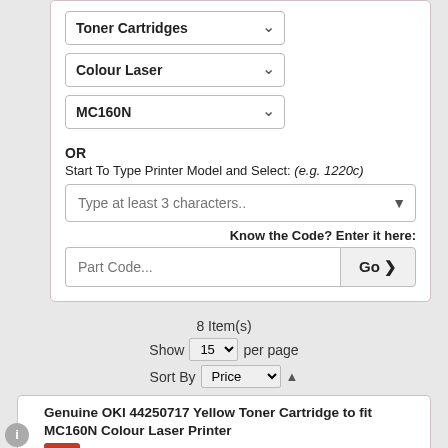[Figure (screenshot): UI filter card with dropdown selects for Toner Cartridges, Colour Laser, MC160N categories]
OR
Start To Type Printer Model and Select: (e.g. 1220c)
Type at least 3 characters..
Know the Code? Enter it here:
Part Code...
8 Item(s)
Show 15 per page
Sort By Price
Genuine OKI 44250717 Yellow Toner Cartridge to fit MC160N Colour Laser Printer